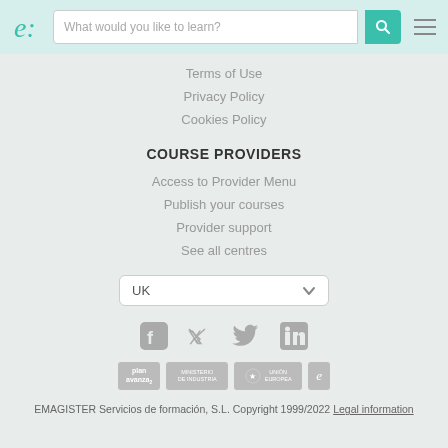e: [search bar: What would you like to learn?] [search icon] [menu icon]
Terms of Use
Privacy Policy
Cookies Policy
COURSE PROVIDERS
Access to Provider Menu
Publish your courses
Provider support
See all centres
UK [dropdown]
[Figure (infographic): Facebook, Twitter, LinkedIn social media icons in grey]
[Figure (logo): Plan Avanza, ministerio, Union Europea, and emagister badges/logos in grey]
EMAGISTER Servicios de formación, S.L. Copyright 1999/2022 Legal information